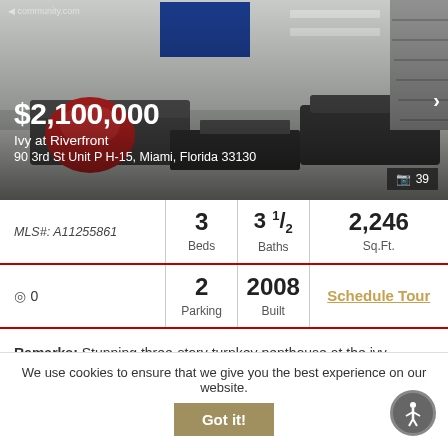[Figure (photo): Interior photo of a modern luxury penthouse living room with dark gray sofas, a red accent chair, coffee tables, staircase in background, and shelving. Price overlay shows $2,100,000.]
$2,100,000
Ivy at Riverfront
90 3rd St Unit P H-15, Miami, Florida 33130
| MLS#: A11255861 | 3
Beds | 3½
Baths | 2,246
Sq.Ft. |
| ◎ 0 | 2
Parking | 2008
Built | Schedule Tour |
Remarks: Stunning three-story turnkey penthouse at the ivy, featuring 3 beds, 3 full baths, 1 half bath + den, an enormous rooftop with a s...
We use cookies to ensure that we give you the best experience on our website.
Got it!